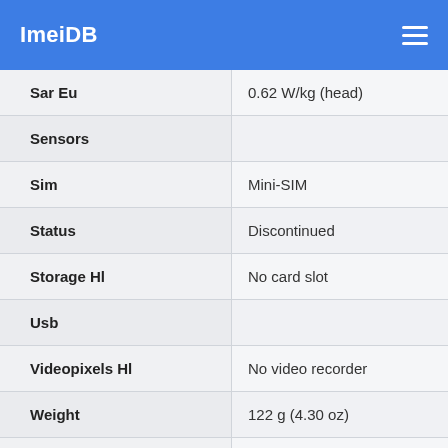ImeiDB
| Property | Value |
| --- | --- |
| Sar Eu | 0.62 W/kg (head) |
| Sensors |  |
| Sim | Mini-SIM |
| Status | Discontinued |
| Storage Hl | No card slot |
| Usb |  |
| Videopixels Hl | No video recorder |
| Weight | 122 g (4.30 oz) |
| Wlan | No |
| Year | 2003, Q1 |